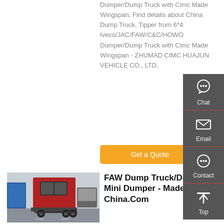Dumper/Dump Truck with Cimc Made Wingspan, Find details about China Dump Truck, Tipper from 6*4 Iveco/JAC/FAW/C&C/HOWO Dumper/Dump Truck with Cimc Made Wingspan - ZHUMAD CIMC HUAJUN VEHICLE CO., LTD.
Get a Quote
[Figure (photo): Rear view of a red FAW dump truck / heavy duty truck in a transport yard with blue containers and other trucks visible in the background.]
FAW Dump Truck/D-5 Tons Mini Dumper - Made-In-China.Com